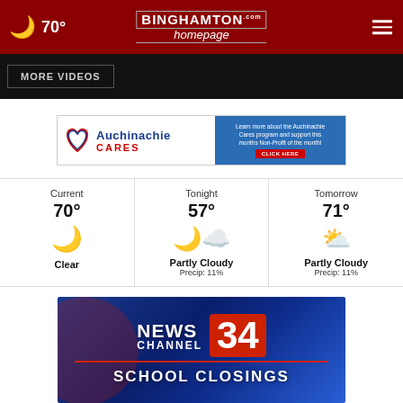70° — Binghamton homepage.com
more videos
[Figure (other): Auchinachie Cares advertisement banner with heart logo, blue text and red CLICK HERE button]
| Current | Tonight | Tomorrow |
| --- | --- | --- |
| 70° | 57° | 71° |
| Clear (moon icon) | Partly Cloudy
Precip: 11% | Partly Cloudy
Precip: 11% |
[Figure (other): News Channel 34 School Closings banner with blue background and red accents]